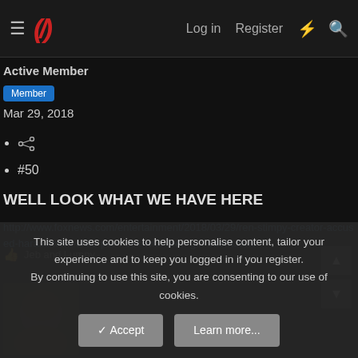Log in  Register
Active Member
Member
Mar 29, 2018
(share icon)
#50
WELL LOOK WHAT WE HAVE HERE
http://www.foxnews.com/entertainment/2018/03/29/ren-stimpy-creator-accused-harassment-child-porn-sex-with-teen-girl-intern.html
Jeb and Lumpy
This site uses cookies to help personalise content, tailor your experience and to keep you logged in if you register. By continuing to use this site, you are consenting to our use of cookies.